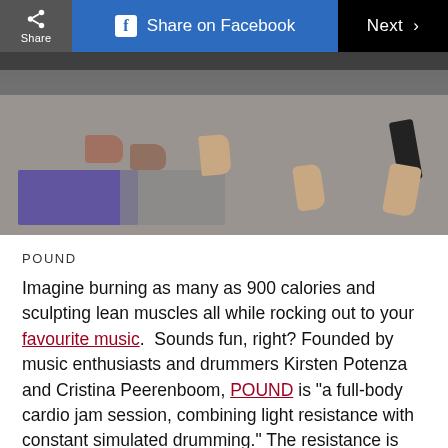Share | Share on Facebook | Next >
[Figure (photo): Photo of people's feet and legs in a gym/fitness studio with purple yoga mats on the floor]
POUND
Imagine burning as many as 900 calories and sculpting lean muscles all while rocking out to your favourite music. Sounds fun, right? Founded by music enthusiasts and drummers Kirsten Potenza and Cristina Peerenboom, POUND is "a full-body cardio jam session, combining light resistance with constant simulated drumming." The resistance is provided by lightly weighted drumsticks, called Ripstix. (Here’s where your air drumming skills come into play.)